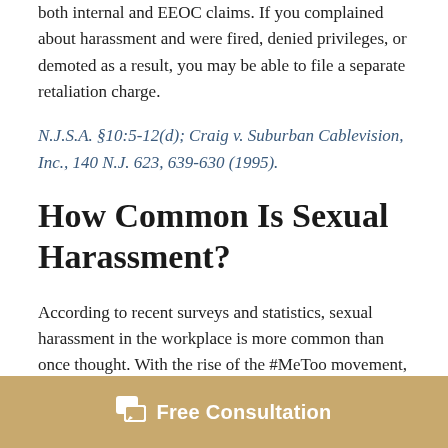both internal and EEOC claims. If you complained about harassment and were fired, denied privileges, or demoted as a result, you may be able to file a separate retaliation charge.
N.J.S.A. §10:5-12(d); Craig v. Suburban Cablevision, Inc., 140 N.J. 623, 639-630 (1995).
How Common Is Sexual Harassment?
According to recent surveys and statistics, sexual harassment in the workplace is more common than once thought. With the rise of the #MeToo movement, victims have reported repeated instances of sexual harassment in the workplace, spanning decades and across a spectrum of industries. The statistics speak for themselves:
Free Consultation